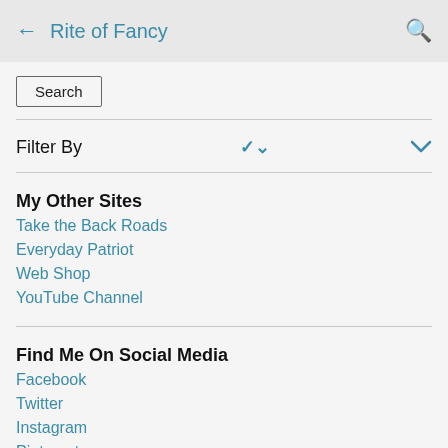← Rite of Fancy
Search
Filter By
My Other Sites
Take the Back Roads
Everyday Patriot
Web Shop
YouTube Channel
Find Me On Social Media
Facebook
Twitter
Instagram
Pinterest
Favorite Posts